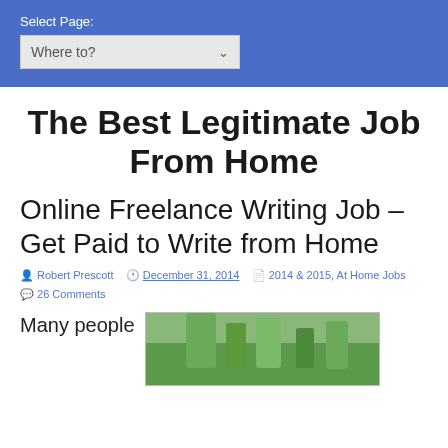Select Page: Where to?
The Best Legitimate Job From Home
Online Freelance Writing Job – Get Paid to Write from Home
Robert Prescott  December 31, 2014  2014 & 2015, At Home Jobs  26 Comments
Many people
[Figure (photo): Thumbnail image showing greenery/plants, partially visible at bottom right of page]